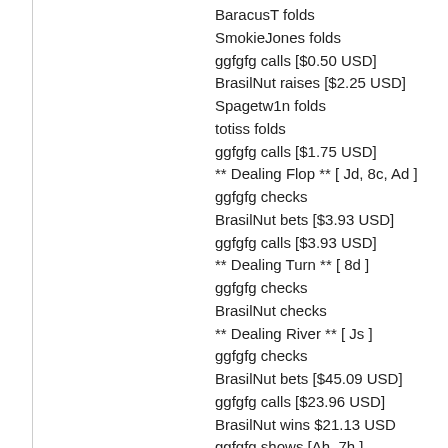BaracusT folds
SmokieJones folds
ggfgfg calls [$0.50 USD]
BrasilNut raises [$2.25 USD]
Spagetw1n folds
totiss folds
ggfgfg calls [$1.75 USD]
** Dealing Flop ** [ Jd, 8c, Ad ]
ggfgfg checks
BrasilNut bets [$3.93 USD]
ggfgfg calls [$3.93 USD]
** Dealing Turn ** [ 8d ]
ggfgfg checks
BrasilNut checks
** Dealing River ** [ Js ]
ggfgfg checks
BrasilNut bets [$45.09 USD]
ggfgfg calls [$23.96 USD]
BrasilNut wins $21.13 USD
ggfgfg shows [Ah, 7h ]